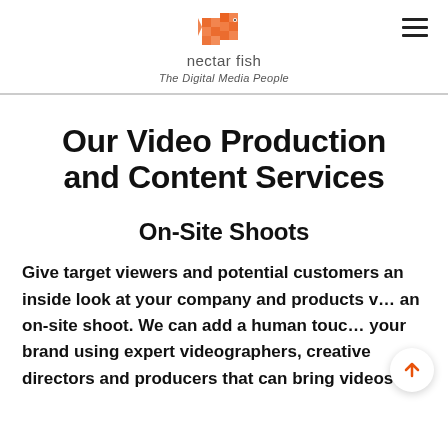nectar fish — The Digital Media People
Our Video Production and Content Services
On-Site Shoots
Give target viewers and potential customers an inside look at your company and products via an on-site shoot. We can add a human touch to your brand using expert videographers, creative directors and producers that can bring videos to